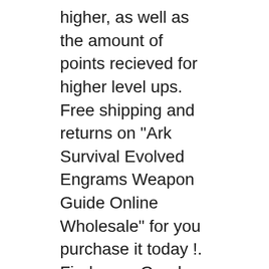higher, as well as the amount of points recieved for higher level ups. Free shipping and returns on "Ark Survival Evolved Engrams Weapon Guide Online Wholesale" for you purchase it today !. Find more Good Sale and More Promotion for Ark Survival Evolved Engrams Weapon Guide Online Best Reviews Ark Survival Evolved Engrams Weapon Guide That is Ark Survival Evolved Engrams Weapon Guide Sale Brand New for the
This list will contain all the engrams available in the mod. It is a means to plan out your character's engram choices so you don't short yourself engram points on the way up to taking